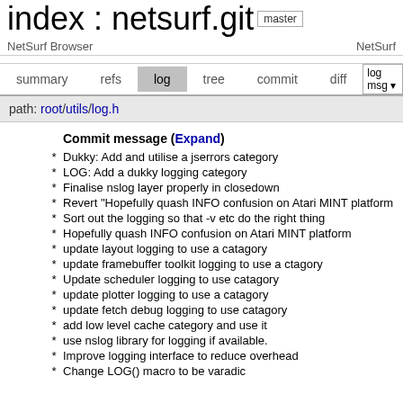index : netsurf.git
NetSurf Browser    NetSurf
summary   refs   log   tree   commit   diff   log msg
path: root/utils/log.h
Commit message (Expand)
* Dukky: Add and utilise a jserrors category
* LOG: Add a dukky logging category
* Finalise nslog layer properly in closedown
* Revert "Hopefully quash INFO confusion on Atari MINT platform
* Sort out the logging so that -v etc do the right thing
* Hopefully quash INFO confusion on Atari MINT platform
* update layout logging to use a catagory
* update framebuffer toolkit logging to use a ctagory
* Update scheduler logging to use catagory
* update plotter logging to use a catagory
* update fetch debug logging to use catagory
* add low level cache category and use it
* use nslog library for logging if available.
* Improve logging interface to reduce overhead
* Change LOG() macro to be varadic